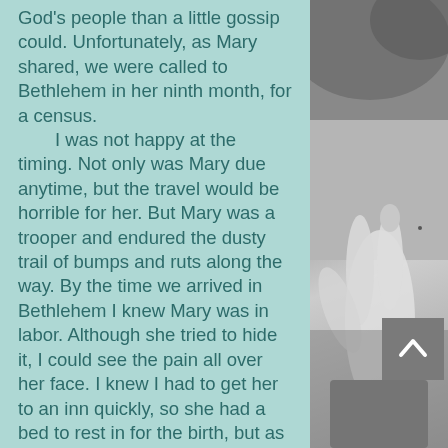God's people than a little gossip could. Unfortunately, as Mary shared, we were called to Bethlehem in her ninth month, for a census.

I was not happy at the timing. Not only was Mary due anytime, but the travel would be horrible for her. But Mary was a trooper and endured the dusty trail of bumps and ruts along the way. By the time we arrived in Bethlehem I knew Mary was in labor. Although she tried to hide it, I could see the pain all over her face. I knew I had to get her to an inn quickly, so she had a bed to rest in for the birth, but as I knocked on each door and was turned away for lack of room, I grew more impatient and frustrated. I begged and pleaded, surprised that no one had pity
[Figure (photo): Black and white photo of what appears to be a hand or fingers, blurred background with trees or foliage.]